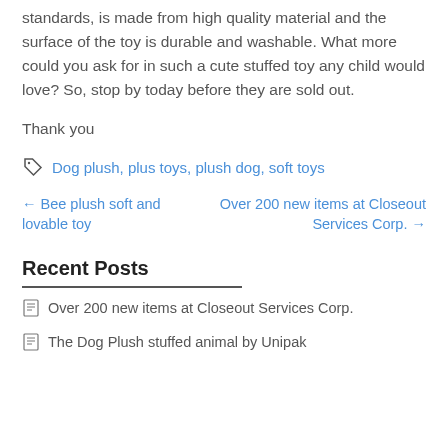standards, is made from high quality material and the surface of the toy is durable and washable. What more could you ask for in such a cute stuffed toy any child would love? So, stop by today before they are sold out.
Thank you
Dog plush, plus toys, plush dog, soft toys
← Bee plush soft and lovable toy
Over 200 new items at Closeout Services Corp. →
Recent Posts
Over 200 new items at Closeout Services Corp.
The Dog Plush stuffed animal by Unipak